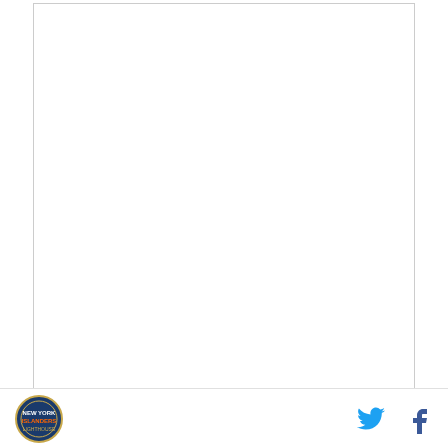[Figure (other): Advertisement box with white background and gray border]
POWERED BY CONCERT    FEEDBACK
Where has the time gone? Somehow, Dan and Mike have reached their 150th episode of Islanders Anxiety. I love the humor, the passion and the humility they bring to it every episode. It's not blowhard, “LEMME TELL YOU SOMETHING” stuff; it's just honest, insightful, very genuine fan discussion every time. The
Logo | Twitter | Facebook